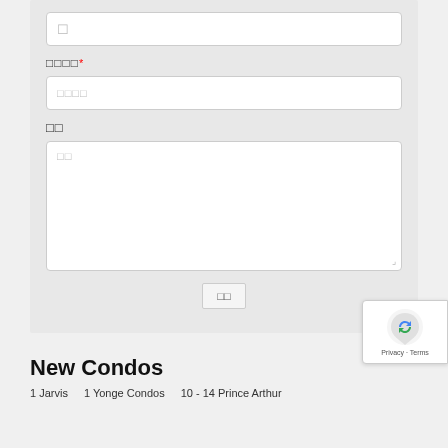□
□□□□ *
□□□□
□□
□□
□□
New Condos
1 Jarvis    1 Yonge Condos    10 - 14 Prince Arthur